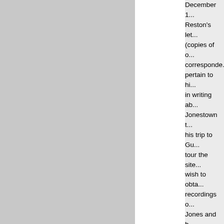December 1... Reston's let... (copies of o... corresponde... pertain to hi... in writing ab... Jonestown t... his trip to Gu... tour the site... wish to obta... recordings o... Jones and h... followers.
Correspond... include Res... agent Carol... historian Fa... Brodie, write... editor Penel... Coker Hall, ... special cour... President N... founder of P... Ministry Ch... Colson, Jam... "Scotty" Res... (Reston's fa... journalist an...